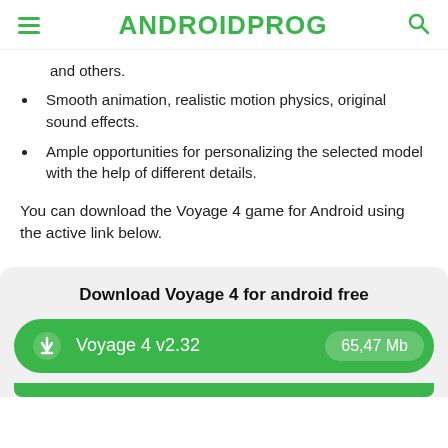ANDROIDPROG
and others.
Smooth animation, realistic motion physics, original sound effects.
Ample opportunities for personalizing the selected model with the help of different details.
You can download the Voyage 4 game for Android using the active link below.
Download Voyage 4 for android free
Voyage 4 v2.32   65,47 Mb